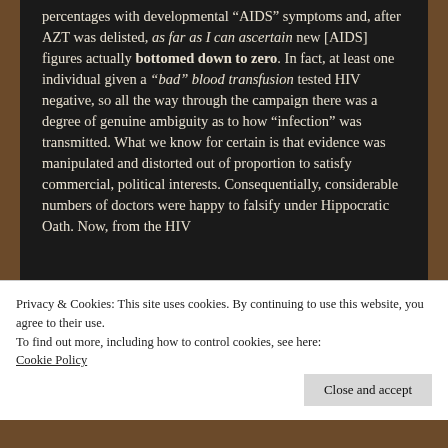percentages with developmental “AIDS” symptoms and, after AZT was delisted, as far as I can ascertain new [AIDS] figures actually bottomed down to zero. In fact, at least one individual given a “bad” blood transfusion tested HIV negative, so all the way through the campaign there was a degree of genuine ambiguity as to how “infection” was transmitted. What we know for certain is that evidence was manipulated and distorted out of proportion to satisfy commercial, political interests. Consequentially, considerable numbers of doctors were happy to falsify under Hippocratic Oath. Now, from the HIV
Privacy & Cookies: This site uses cookies. By continuing to use this website, you agree to their use.
To find out more, including how to control cookies, see here:
Cookie Policy
Close and accept